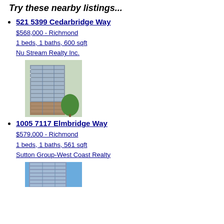Try these nearby listings...
521 5399 Cedarbridge Way
$568,000 - Richmond
1 beds, 1 baths, 600 sqft
Nu Stream Realty Inc.
[Figure (photo): Photo of a modern high-rise condominium building with glass and stone facade]
1005 7117 Elmbridge Way
$579,000 - Richmond
1 beds, 1 baths, 561 sqft
Sutton Group-West Coast Realty
[Figure (photo): Photo of another modern condominium building against blue sky]